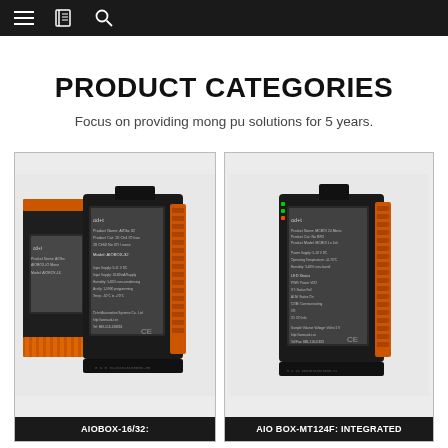Navigation bar with menu, book, and search icons
PRODUCT CATEGORIES
Focus on providing mong pu solutions for 5 years.
[Figure (photo): AIOBOX-16/32 industrial I/O module device shown from an angle, dark enclosure with orange terminal connectors and label sticker visible]
AIOBOX-16/32:
[Figure (photo): AIO BOX-MT124F integrated industrial I/O module, dark enclosure with orange terminal connectors and CE marking, label sticker visible]
AIO BOX-MT124F: INTEGRATED